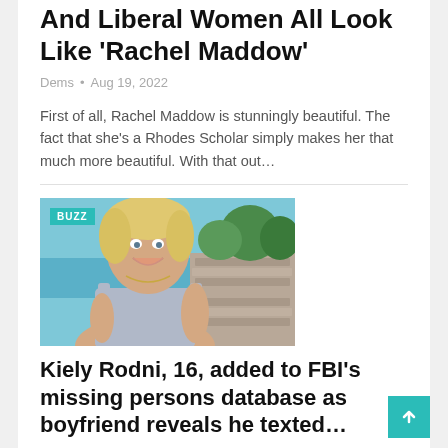And Liberal Women All Look Like 'Rachel Maddow'
Dems • Aug 19, 2022
First of all, Rachel Maddow is stunningly beautiful. The fact that she's a Rhodes Scholar simply makes her that much more beautiful. With that out…
[Figure (photo): Young woman smiling outdoors at a tropical location with water and stone wall in background. BUZZ badge overlay in top-left corner.]
Kiely Rodni, 16, added to FBI's missing persons database as boyfriend reveals he texted…
• Kardashian Tail • Aug 12, 2022